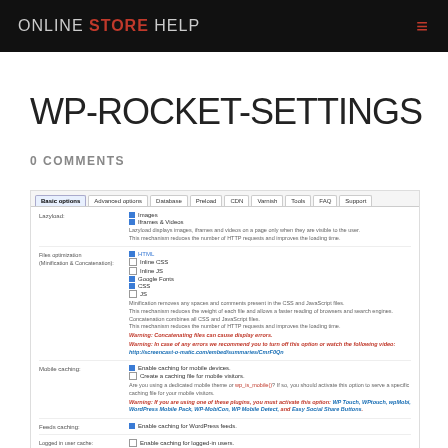ONLINE STORE HELP
WP-ROCKET-SETTINGS
0 COMMENTS
[Figure (screenshot): WordPress WP-Rocket plugin settings page showing Basic options tab with Lazyload, Files optimization, Mobile caching, Feeds caching, and Logged in user cache sections.]